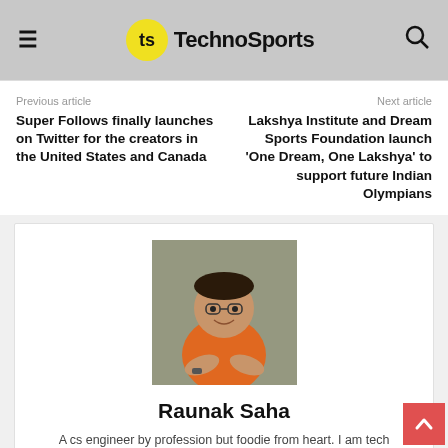TechnoSports
Previous article
Next article
Super Follows finally launches on Twitter for the creators in the United States and Canada
Lakshya Institute and Dream Sports Foundation launch 'One Dream, One Lakshya' to support future Indian Olympians
[Figure (photo): Photo of Raunak Saha, a man in an orange polo shirt sitting outdoors, wearing glasses]
Raunak Saha
A cs engineer by profession but foodie from heart. I am tech...